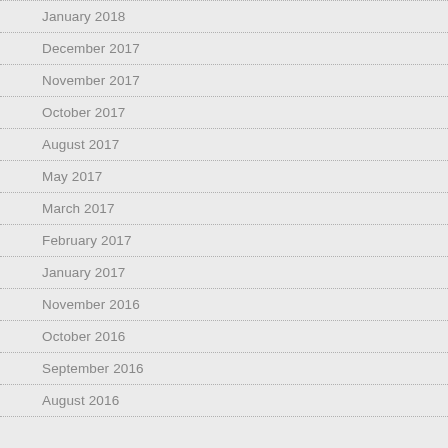January 2018
December 2017
November 2017
October 2017
August 2017
May 2017
March 2017
February 2017
January 2017
November 2016
October 2016
September 2016
August 2016